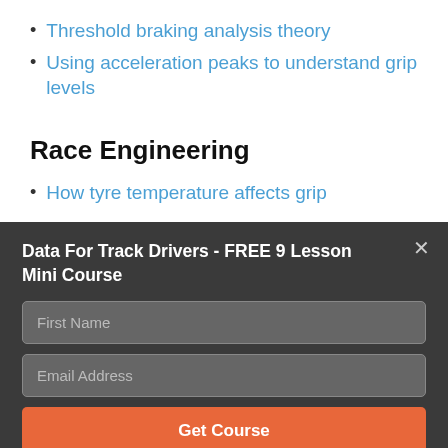Threshold braking analysis theory
Using acceleration peaks to understand grip levels
Race Engineering
How tyre temperature affects grip
Data For Track Drivers - FREE 9 Lesson Mini Course
First Name
Email Address
Get Course